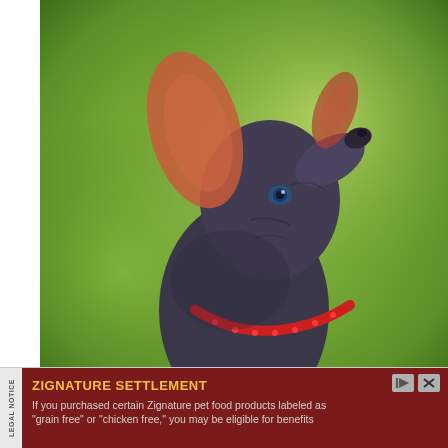[Figure (photo): A hairless dog (appears to be a Xoloitzcuintli or similar breed) with large translucent reddish ears, blue eyes, wrinkled grey-blue skin, and a red collar, looking upward against a blurred green outdoor background.]
LEGAL NOTICE
ZIGNATURE SETTLEMENT
If you purchased certain Zignature pet food products labeled as "grain free" or "chicken free," you may be eligible for benefits